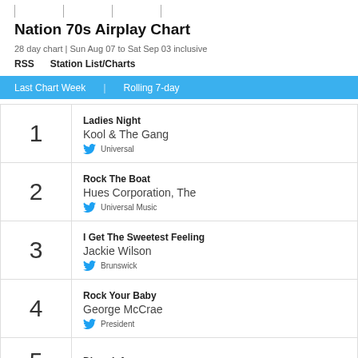| | | |
Nation 70s Airplay Chart
28 day chart | Sun Aug 07 to Sat Sep 03 inclusive
RSS    Station List/Charts
Last Chart Week   |   Rolling 7-day
1 - Ladies Night - Kool & The Gang - Universal
2 - Rock The Boat - Hues Corporation, The - Universal Music
3 - I Get The Sweetest Feeling - Jackie Wilson - Brunswick
4 - Rock Your Baby - George McCrae - President
5 - Disco Inferno